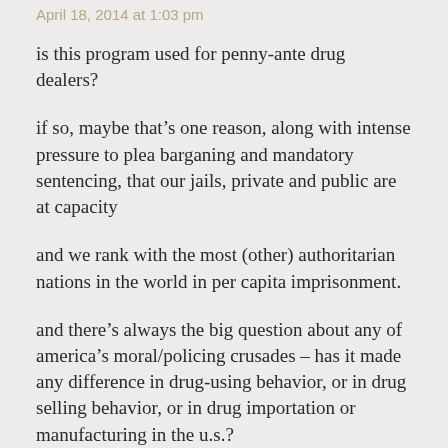April 18, 2014 at 1:03 pm
is this program used for penny-ante drug dealers?
if so, maybe that’s one reason, along with intense pressure to plea barganing and mandatory sentencing, that our jails, private and public are at capacity
and we rank with the most (other) authoritarian nations in the world in per capita imprisonment.
and there’s always the big question about any of america’s moral/policing crusades – has it made any difference in drug-using behavior, or in drug selling behavior, or in drug importation or manufacturing in the u.s.?